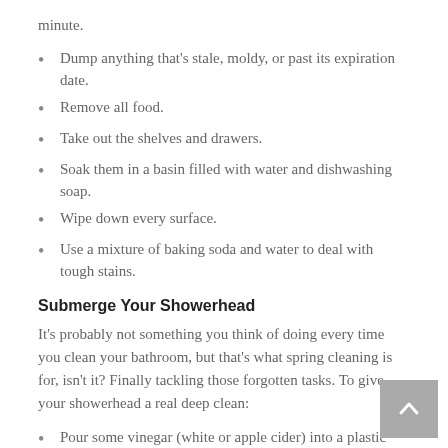minute.
Dump anything that's stale, moldy, or past its expiration date.
Remove all food.
Take out the shelves and drawers.
Soak them in a basin filled with water and dishwashing soap.
Wipe down every surface.
Use a mixture of baking soda and water to deal with tough stains.
Submerge Your Showerhead
It's probably not something you think of doing every time you clean your bathroom, but that's what spring cleaning is for, isn't it? Finally tackling those forgotten tasks. To give your showerhead a real deep clean:
Pour some vinegar (white or apple cider) into a plastic bag and wrap it around the showerhead.
Seal it with a rubber band and let it soak for 30